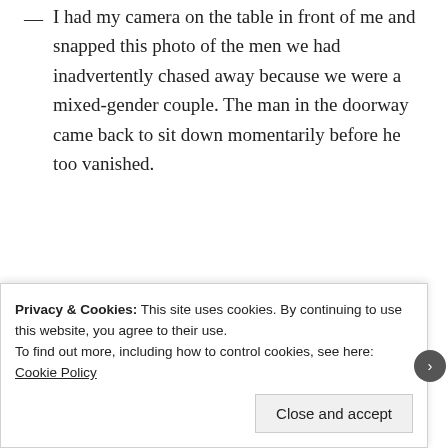— I had my camera on the table in front of me and snapped this photo of the men we had inadvertently chased away because we were a mixed-gender couple. The man in the doorway came back to sit down momentarily before he too vanished.
[Figure (photo): Advertisement showing a smiling woman holding an OPEN sign, next to dark navy panel with text: WORDPRESS HOSTING THAT MEANS BUSINESS. LEARN MORE]
Privacy & Cookies: This site uses cookies. By continuing to use this website, you agree to their use.
To find out more, including how to control cookies, see here: Cookie Policy
Close and accept